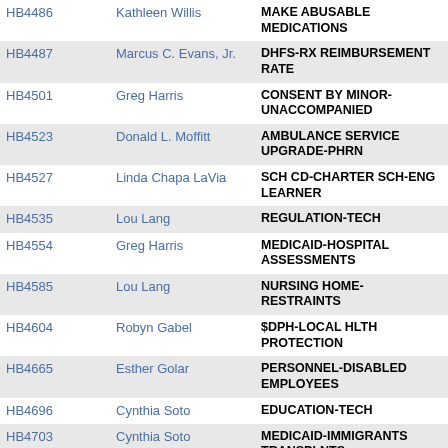| Bill | Sponsor | Description |
| --- | --- | --- |
| HB4486 | Kathleen Willis | MAKE ABUSABLE MEDICATIONS |
| HB4487 | Marcus C. Evans, Jr. | DHFS-RX REIMBURSEMENT RATE |
| HB4501 | Greg Harris | CONSENT BY MINOR-UNACCOMPANIED |
| HB4523 | Donald L. Moffitt | AMBULANCE SERVICE UPGRADE-PHRN |
| HB4527 | Linda Chapa LaVia | SCH CD-CHARTER SCH-ENG LEARNER |
| HB4535 | Lou Lang | REGULATION-TECH |
| HB4554 | Greg Harris | MEDICAID-HOSPITAL ASSESSMENTS |
| HB4585 | Lou Lang | NURSING HOME-RESTRAINTS |
| HB4604 | Robyn Gabel | $DPH-LOCAL HLTH PROTECTION |
| HB4665 | Esther Golar | PERSONNEL-DISABLED EMPLOYEES |
| HB4696 | Cynthia Soto | EDUCATION-TECH |
| HB4703 | Cynthia Soto | MEDICAID-IMMIGRANTS TRANSPLNTS |
| HB4704 | Cynthia Soto | REGULATION-TECH |
| HB4705 | Cynthia Soto | STATE GOVERNMENT-TECH |
| HB4706 | Cynthia Soto | HEALTH FAC-MANAGED CARE ENTITY |
| HB4710 | Cynthia Soto | EDUCATION-TECH |
| HB4711 | Cynthia Soto | TRANSPORTATION-TEC |